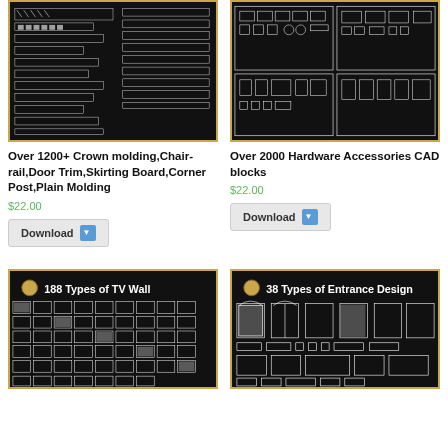[Figure (screenshot): CAD drawing showing crown molding and trim profiles on black background]
Over 1200+ Crown molding,Chair-rail,Door Trim,Skirting Board,Corner Post,Plain Molding
$22.00
Download
[Figure (screenshot): CAD drawing showing hardware accessories on black background]
Over 2000 Hardware Accessories CAD blocks
$22.00
Download
[Figure (screenshot): 188 Types of TV Wall CAD blocks on black background]
[Figure (screenshot): 38 Types of Entrance Design CAD blocks on black background]